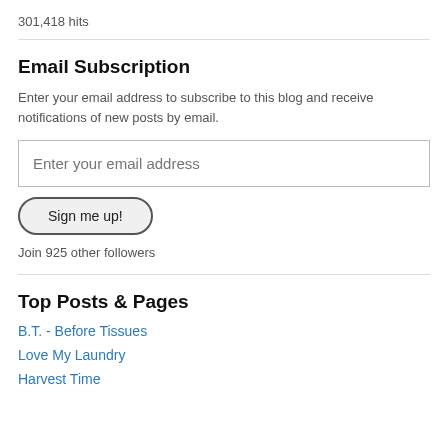301,418 hits
Email Subscription
Enter your email address to subscribe to this blog and receive notifications of new posts by email.
Enter your email address
Sign me up!
Join 925 other followers
Top Posts & Pages
B.T. - Before Tissues
Love My Laundry
Harvest Time